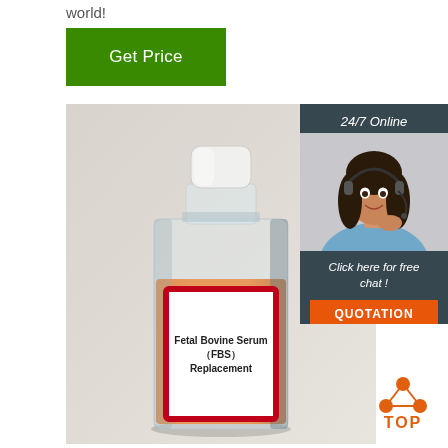world!
Get Price
[Figure (photo): A clear square bottle labeled 'Fetal Bovine Serum (FBS) Replacement' filled with orange liquid, white cap, red-bordered white label, on a light grey background.]
24/7 Online
[Figure (photo): Customer service representative woman wearing a headset, smiling, with shoulder-length dark hair, wearing a blue shirt.]
Click here for free chat !
QUOTATION
[Figure (logo): TOP logo with three orange dots arranged in a triangle above the word TOP in orange text.]